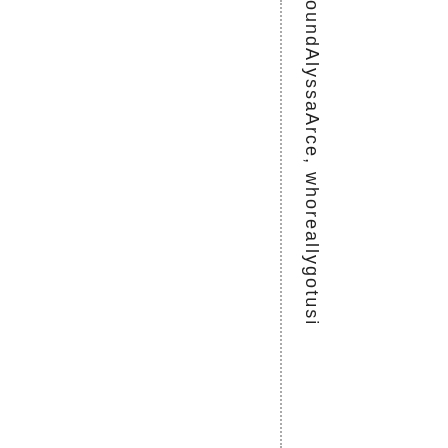oundAlyssaArce, whoreallygotusi